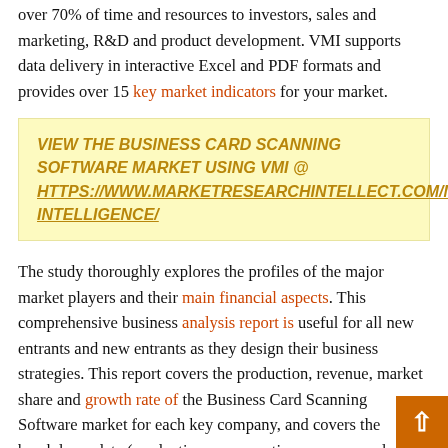over 70% of time and resources to investors, sales and marketing, R&D and product development. VMI supports data delivery in interactive Excel and PDF formats and provides over 15 key market indicators for your market.
VIEW THE BUSINESS CARD SCANNING SOFTWARE MARKET USING VMI @ HTTPS://WWW.MARKETRESEARCHINTELLECT.COM/MRI-INTELLIGENCE/
The study thoroughly explores the profiles of the major market players and their main financial aspects. This comprehensive business analysis report is useful for all new entrants and new entrants as they design their business strategies. This report covers the production, revenue, market share and growth rate of the Business Card Scanning Software market for each key company, and covers the breakdown data (production, consumption, revenue and market share) by regions, type and applications. Historical Business Card Scanning Software